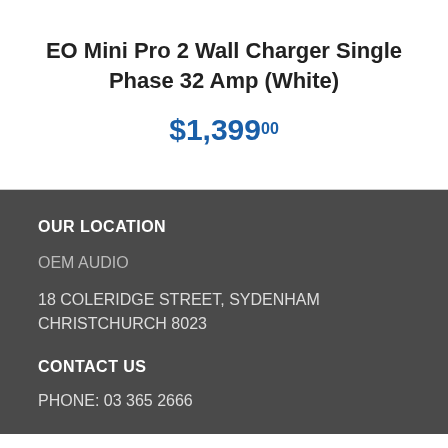EO Mini Pro 2 Wall Charger Single Phase 32 Amp (White)
$1,39900
OUR LOCATION
OEM AUDIO
18 COLERIDGE STREET, SYDENHAM CHRISTCHURCH 8023
CONTACT US
PHONE: 03 365 2666